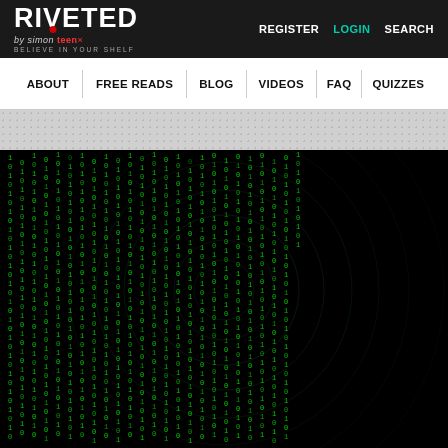RIVETED by simon teen | BELIEVE IN YOUR SHELF | REGISTER LOGIN SEARCH
ABOUT | FREE READS | BLOG | VIDEOS | FAQ | QUIZZES
[Figure (screenshot): Book cover image showing a dark background with green matrix-style binary code (0s and 1s) falling in columns, with a fingerprint-like circular pattern visible in the center. At the bottom is a teal 'BOOK LIST' label and start of the title '10 Books to Read if You'.]
10 Books to Read if You